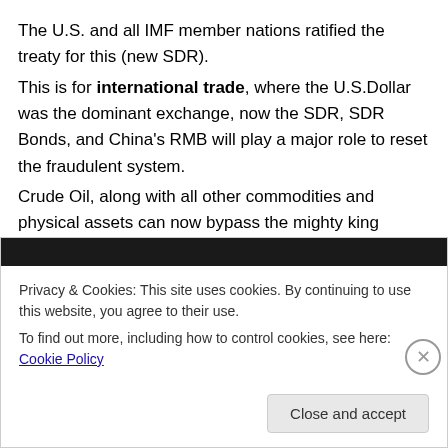The U.S. and all IMF member nations ratified the treaty for this (new SDR).
This is for international trade, where the U.S.Dollar was the dominant exchange, now the SDR, SDR Bonds, and China's RMB will play a major role to reset the fraudulent system.
Crude Oil, along with all other commodities and physical assets can now bypass the mighty king U.S.Dollar (so why the wars)...
Privacy & Cookies: This site uses cookies. By continuing to use this website, you agree to their use. To find out more, including how to control cookies, see here: Cookie Policy
Close and accept